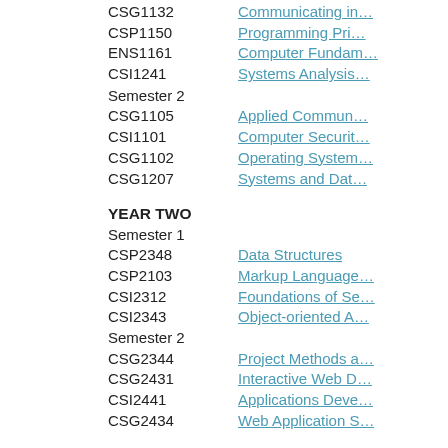CSG1132 Communicating in…
CSP1150 Programming Pri…
ENS1161 Computer Fundam…
CSI1241 Systems Analysis…
Semester 2
CSG1105 Applied Commun…
CSI1101 Computer Securit…
CSG1102 Operating System…
CSG1207 Systems and Dat…
YEAR TWO
Semester 1
CSP2348 Data Structures
CSP2103 Markup Language…
CSI2312 Foundations of Se…
CSI2343 Object-oriented A…
Semester 2
CSG2344 Project Methods a…
CSG2431 Interactive Web D…
CSI2441 Applications Deve…
CSG2434 Web Application S…
YEAR THREE